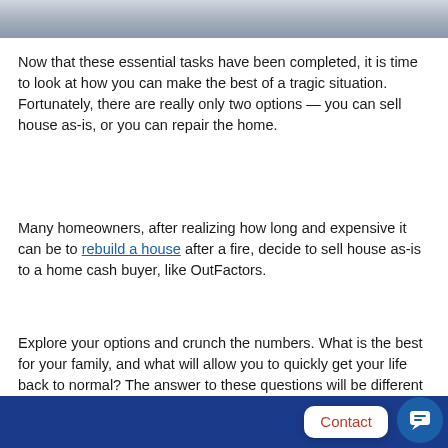[Figure (photo): Partial photo strip at top of page showing what appears to be a building exterior]
Now that these essential tasks have been completed, it is time to look at how you can make the best of a tragic situation. Fortunately, there are really only two options — you can sell house as-is, or you can repair the home.
Many homeowners, after realizing how long and expensive it can be to rebuild a house after a fire, decide to sell house as-is to a home cash buyer, like OutFactors.
Explore your options and crunch the numbers. What is the best for your family, and what will allow you to quickly get your life back to normal? The answer to these questions will be different for everyone, but it is important that you realize you do have options.
[Figure (other): Contact chat button widget at bottom right, with blue bar footer]